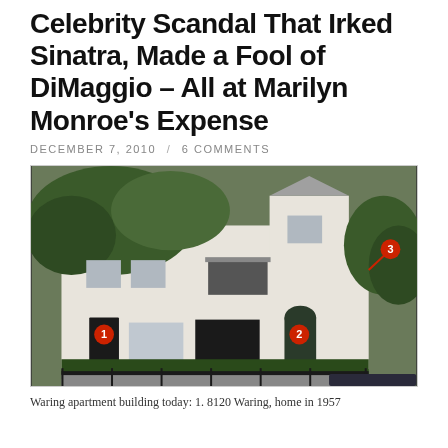Celebrity Scandal That Irked Sinatra, Made a Fool of DiMaggio – All at Marilyn Monroe's Expense
DECEMBER 7, 2010 / 6 COMMENTS
[Figure (photo): Photo of the Waring apartment building, a white two-story stucco building with trees in front. Three numbered red circle markers are visible: marker 1 near a dark door on the left, marker 2 near an arched door on the right, and marker 3 pointing to the upper right corner area with shrubbery. A black iron fence is in the foreground.]
Waring apartment building today: 1. 8120 Waring, home in 1957